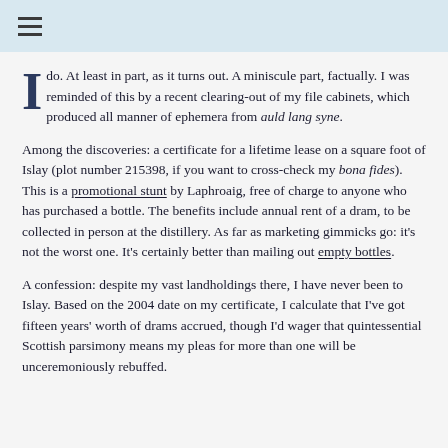≡
I do. At least in part, as it turns out. A miniscule part, factually. I was reminded of this by a recent clearing-out of my file cabinets, which produced all manner of ephemera from auld lang syne.
Among the discoveries: a certificate for a lifetime lease on a square foot of Islay (plot number 215398, if you want to cross-check my bona fides). This is a promotional stunt by Laphroaig, free of charge to anyone who has purchased a bottle. The benefits include annual rent of a dram, to be collected in person at the distillery. As far as marketing gimmicks go: it's not the worst one. It's certainly better than mailing out empty bottles.
A confession: despite my vast landholdings there, I have never been to Islay. Based on the 2004 date on my certificate, I calculate that I've got fifteen years' worth of drams accrued, though I'd wager that quintessential Scottish parsimony means my pleas for more than one will be unceremoniously rebuffed.